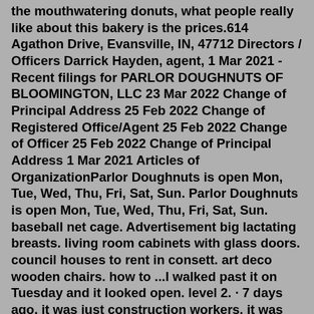the mouthwatering donuts, what people really like about this bakery is the prices.614 Agathon Drive, Evansville, IN, 47712 Directors / Officers Darrick Hayden, agent, 1 Mar 2021 - Recent filings for PARLOR DOUGHNUTS OF BLOOMINGTON, LLC 23 Mar 2022 Change of Principal Address 25 Feb 2022 Change of Registered Office/Agent 25 Feb 2022 Change of Officer 25 Feb 2022 Change of Principal Address 1 Mar 2021 Articles of OrganizationParlor Doughnuts is open Mon, Tue, Wed, Thu, Fri, Sat, Sun. Parlor Doughnuts is open Mon, Tue, Wed, Thu, Fri, Sat, Sun. baseball net cage. Advertisement big lactating breasts. living room cabinets with glass doors. council houses to rent in consett. art deco wooden chairs. how to ...I walked past it on Tuesday and it looked open. level 2. · 7 days ago. it was just construction workers. it was still definitively closed as of saturday (i asked one of the guys holding a saw) r/bloomington. Subreddit for Bloomington, Indiana. 28.0k. Members. 105. Mar 17,